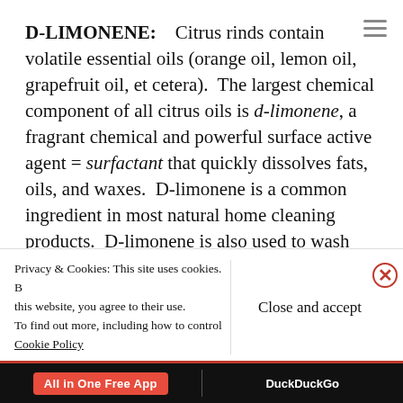D-LIMONENE: Citrus rinds contain volatile essential oils (orange oil, lemon oil, grapefruit oil, et cetera).  The largest chemical component of all citrus oils is d-limonene, a fragrant chemical and powerful surface active agent = surfactant that quickly dissolves fats, oils, and waxes.  D-limonene is a common ingredient in most natural home cleaning products.  D-limonene is also used to wash greasy automobile parts and as a safe replacement for mineral spirits (petroleum turpentine).  Use d-limonene just like any other
Privacy & Cookies: This site uses cookies. By continuing to use this website, you agree to their use.
To find out more, including how to control cookies, see here:
Cookie Policy
Close and accept
[Figure (screenshot): Bottom app bar with 'All in One Free App' red button on left and 'DuckDuckGo' text on right, on dark background]